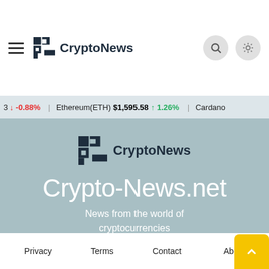[Figure (screenshot): CryptoNews website header with hamburger menu, CryptoNews logo, search button, and theme toggle button on white background with dark brown bar top-right]
3 ↓ -0.88%   Ethereum(ETH) $1,595.58 ↑ 1.26%   Cardano
[Figure (logo): CryptoNews logo (pixel C icon + text) centered in hero section]
Crypto-News.net
News from the world of cryptocurrencies
[Figure (infographic): Twitter and LinkedIn social media buttons]
Privacy   Terms   Contact   Abo